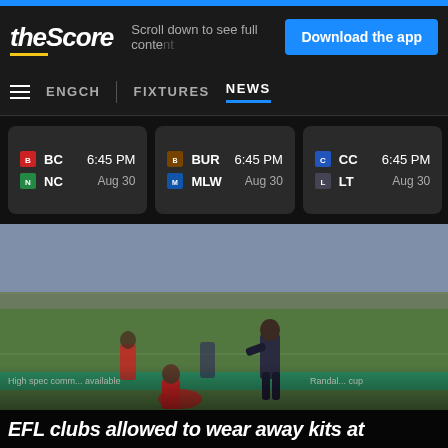theScore | Scroll down to see full content | Download the app
ENGCH | FIXTURES | NEWS
| Team1 | Time | Date | Team2 |
| --- | --- | --- | --- |
| BC / NC | 6:45 PM | Aug 30 |  |
| BUR / MLW | 6:45 PM | Aug 30 |  |
| CC / LT | 6:45 PM | Aug 30 |  |
[Figure (photo): Soccer match action photo showing players on the pitch with a large crowd in the background. One player in red (Middlesbrough) and one in dark kit contesting the ball.]
EFL clubs allowed to wear away kits at...